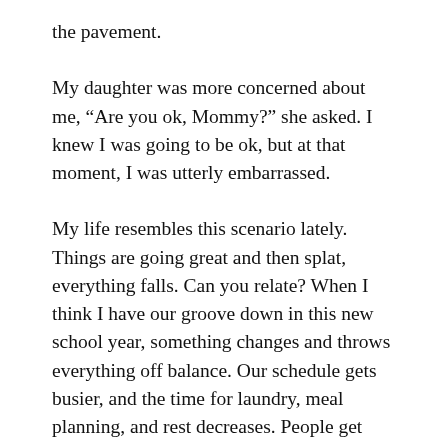the pavement.
My daughter was more concerned about me, “Are you ok, Mommy?” she asked. I knew I was going to be ok, but at that moment, I was utterly embarrassed.
My life resembles this scenario lately. Things are going great and then splat, everything falls. Can you relate? When I think I have our groove down in this new school year, something changes and throws everything off balance. Our schedule gets busier, and the time for laundry, meal planning, and rest decreases. People get sick, and plans change. Do you wish this season would go more like you planned?